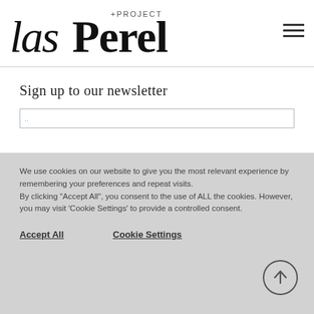[Figure (logo): lasPerelli + PROJECT logo in serif/italic font]
Sign up to our newsletter
We use cookies on our website to give you the most relevant experience by remembering your preferences and repeat visits.
By clicking "Accept All", you consent to the use of ALL the cookies. However, you may visit 'Cookie Settings' to provide a controlled consent.
Accept All
Cookie Settings